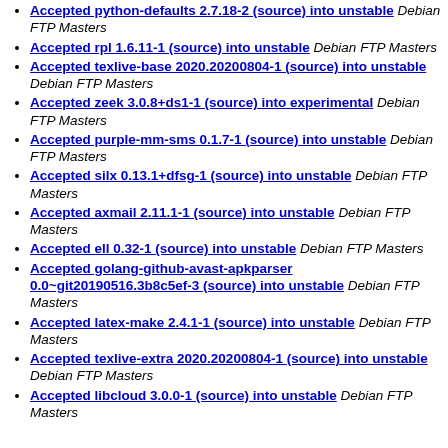Accepted python-defaults 2.7.18-2 (source) into unstable Debian FTP Masters
Accepted rpl 1.6.11-1 (source) into unstable Debian FTP Masters
Accepted texlive-base 2020.20200804-1 (source) into unstable Debian FTP Masters
Accepted zeek 3.0.8+ds1-1 (source) into experimental Debian FTP Masters
Accepted purple-mm-sms 0.1.7-1 (source) into unstable Debian FTP Masters
Accepted silx 0.13.1+dfsg-1 (source) into unstable Debian FTP Masters
Accepted axmail 2.11.1-1 (source) into unstable Debian FTP Masters
Accepted ell 0.32-1 (source) into unstable Debian FTP Masters
Accepted golang-github-avast-apkparser 0.0~git20190516.3b8c5ef-3 (source) into unstable Debian FTP Masters
Accepted latex-make 2.4.1-1 (source) into unstable Debian FTP Masters
Accepted texlive-extra 2020.20200804-1 (source) into unstable Debian FTP Masters
Accepted libcloud 3.0.0-1 (source) into unstable Debian FTP Masters